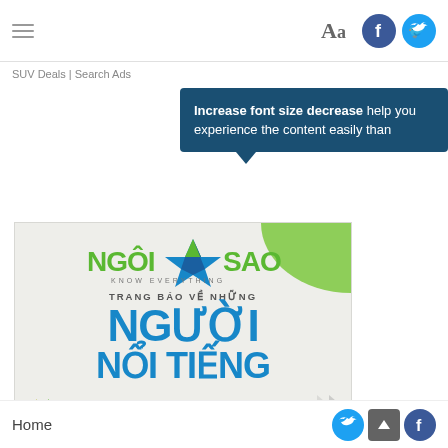[Figure (screenshot): Website navigation bar with hamburger menu icon, Aa font size button, Facebook and Twitter social icons]
SUV Deals | Search Ads
Increase font size decrease help you experience the content easily than
[Figure (illustration): NgoisaoTV advertisement banner in Vietnamese. Logo with star graphic, text TRANG BAO VE NHUNG NGUOI NOI TIENG, XEM NGAY button, navigation arrows, green corner decoration]
Home